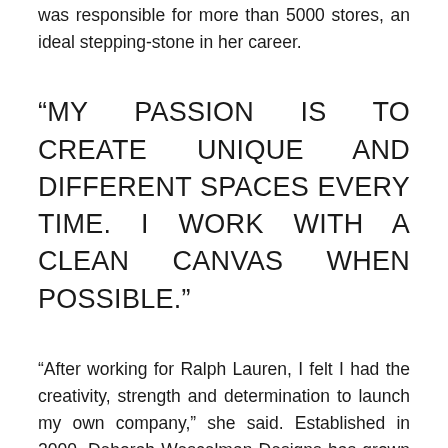was responsible for more than 5000 stores, an ideal stepping-stone in her career.
“MY PASSION IS TO CREATE UNIQUE AND DIFFERENT SPACES EVERY TIME. I WORK WITH A CLEAN CANVAS WHEN POSSIBLE.”
“After working for Ralph Lauren, I felt I had the creativity, strength and determination to launch my own company,” she said. Established in 2000, Deborah Wescelman Designs has grown strong